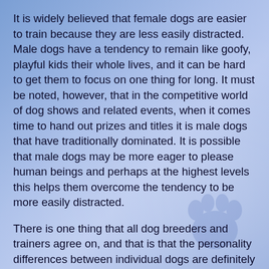It is widely believed that female dogs are easier to train because they are less easily distracted. Male dogs have a tendency to remain like goofy, playful kids their whole lives, and it can be hard to get them to focus on one thing for long. It must be noted, however, that in the competitive world of dog shows and related events, when it comes time to hand out prizes and titles it is male dogs that have traditionally dominated. It is possible that male dogs may be more eager to please human beings and perhaps at the highest levels this helps them overcome the tendency to be more easily distracted.
There is one thing that all dog breeders and trainers agree on, and that is that the personality differences between individual dogs are definitely greater than that which may exist between the sexes. With all that said, in the end the choice should be based on the sense of